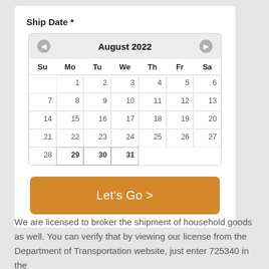Ship Date *
[Figure (other): A calendar picker showing August 2022 with navigation arrows. Days of week: Su Mo Tu We Th Fr Sa. Dates 1-31 shown, with 29, 30, 31 highlighted with borders.]
Let's Go >
We are licensed to broker the shipment of household goods as well. You can verify that by viewing our license from the Department of Transportation website, just enter 735340 in the